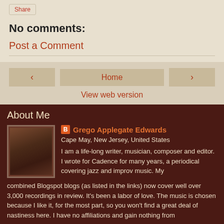Share
No comments:
Post a Comment
< Home >
View web version
About Me
[Figure (photo): Profile photo of Grego Applegate Edwards, a man with long light hair]
Grego Applegate Edwards
Cape May, New Jersey, United States
I am a life-long writer, musician, composer and editor. I wrote for Cadence for many years, a periodical covering jazz and improv music. My combined Blogspot blogs (as listed in the links) now cover well over 3,000 recordings in review. It's been a labor of love. The music is chosen because I like it, for the most part, so you won't find a great deal of nastiness here. I have no affiliations and gain nothing from